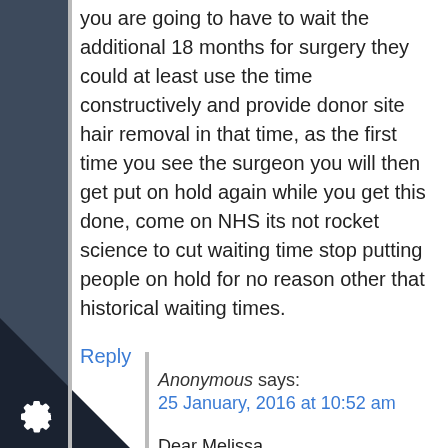you are going to have to wait the additional 18 months for surgery they could at least use the time constructively and provide donor site hair removal in that time, as the first time you see the surgeon you will then get put on hold again while you get this done, come on NHS its not rocket science to cut waiting time stop putting people on hold for no reason other that historical waiting times.
Reply
Anonymous says:
25 January, 2016 at 10:52 am
Dear Melissa